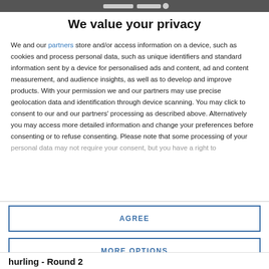We value your privacy
We and our partners store and/or access information on a device, such as cookies and process personal data, such as unique identifiers and standard information sent by a device for personalised ads and content, ad and content measurement, and audience insights, as well as to develop and improve products. With your permission we and our partners may use precise geolocation data and identification through device scanning. You may click to consent to our and our partners' processing as described above. Alternatively you may access more detailed information and change your preferences before consenting or to refuse consenting. Please note that some processing of your personal data may not require your consent, but you have a right to
AGREE
MORE OPTIONS
hurling - Round 2